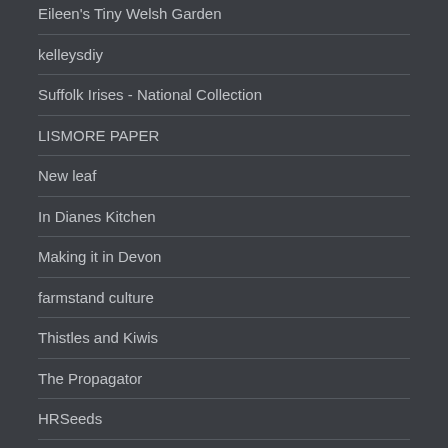Eileen's Tiny Welsh Garden
kelleysdiy
Suffolk Irises - National Collection
LISMORE PAPER
New leaf
In Dianes Kitchen
Making it in Devon
farmstand culture
Thistles and Kiwis
The Propagator
HRSeeds
Greener living - the art of a simpler, more environmentally